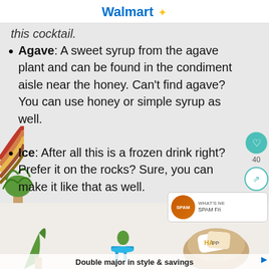Walmart
this cocktail.
Agave: A sweet syrup from the agave plant and can be found in the condiment aisle near the honey. Can't find agave? You can use honey or simple syrup as well.
Ice: After all this is a frozen drink right? Prefer it on the rocks? Sure, you can make it like that as well.
Toasted coconut flakes: Add just a little touch of nuttiness
[Figure (photo): Walmart advertisement banner with home décor items including a papasan chair with pillows, a plant, and a blue stool. Caption: Double major in style & savings]